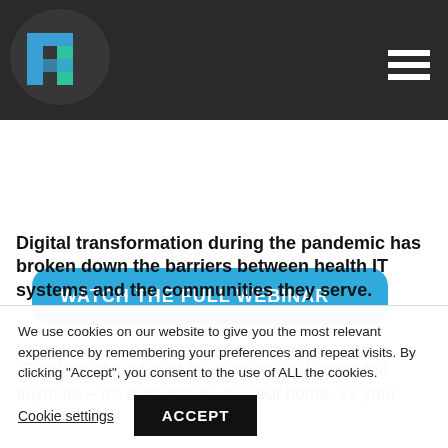[Figure (logo): Health IT publication logo with stylized H letters in blue and teal on dark background with navigation hamburger menu]
WATCH THE FULL WEBINAR
Digital transformation during the pandemic has broken down the barriers between health IT systems and the communities they serve.
“Suddenly the edge of the network isn’t controlled anymore – it’s everywhere, it’s your home, it’s your
We use cookies on our website to give you the most relevant experience by remembering your preferences and repeat visits. By clicking “Accept”, you consent to the use of ALL the cookies.
Cookie settings | ACCEPT